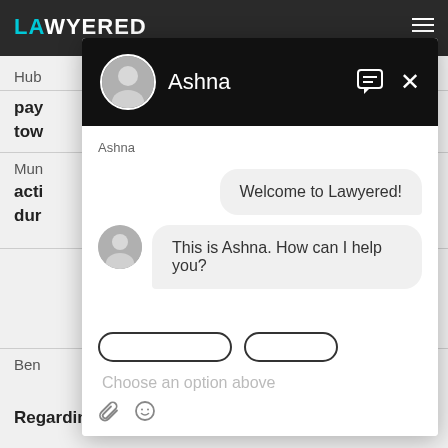LAWYERED
Hub
pay
tow
Mun
acti
dur
Ben
Regarding service bond
[Figure (screenshot): Chat widget overlay showing Lawyered chatbot. Header is black with avatar of Ashna, name 'Ashna', message icon and X close button. Chat messages: 'Welcome to Lawyered!' (right bubble), 'This is Ashna. How can I help you?' (left bubble with avatar). Below are partially visible buttons and an input area with 'Choose an option above' placeholder text and attachment/emoji icons.]